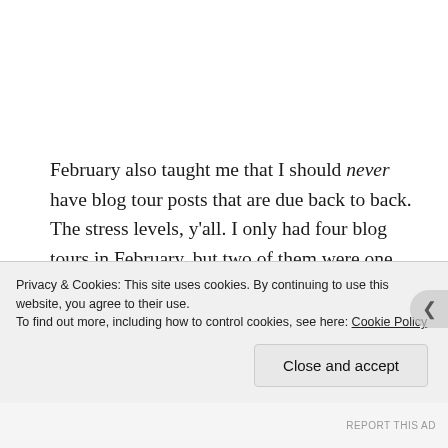February also taught me that I should never have blog tour posts that are due back to back. The stress levels, y'all. I only had four blog tours in February, but two of them were one right after another and trying to read over 400 page books at once was… fun? Thankfully, the books were both enjoyable, but yeah. I'm not doing that one again 😂 I'm trying to have a better balance with my reading in 2021 so both reading and blogging don't start to feel like chores! I'll get there… but
Privacy & Cookies: This site uses cookies. By continuing to use this website, you agree to their use.
To find out more, including how to control cookies, see here: Cookie Policy
Close and accept